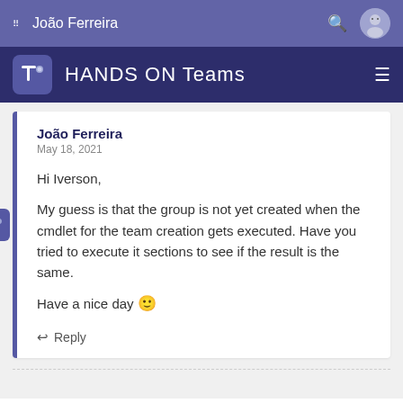João Ferreira
HANDS ON Teams
João Ferreira
May 18, 2021

Hi Iverson,

My guess is that the group is not yet created when the cmdlet for the team creation gets executed. Have you tried to execute it sections to see if the result is the same.

Have a nice day 🙂

↩ Reply